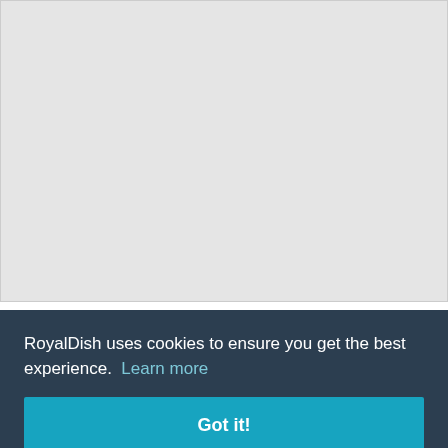[Figure (other): Large gray placeholder image area at the top of the page]
Principessa
Re: Who designed the wedding
1, 04:04:44
yern
of
anuary
untess
er 1940)
e
married:
RoyalDish uses cookies to ensure you get the best experience.  Learn more
Got it!
[Figure (photo): Small partial thumbnail image at the bottom left]